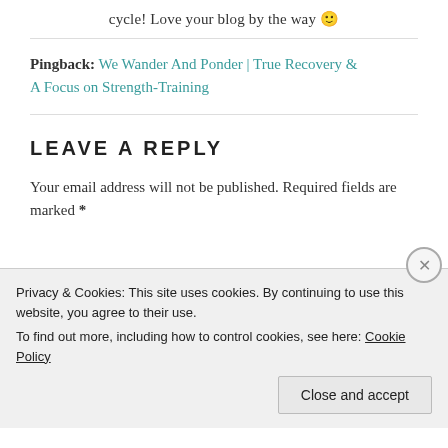cycle! Love your blog by the way 🙂
Pingback: We Wander And Ponder | True Recovery & A Focus on Strength-Training
LEAVE A REPLY
Your email address will not be published. Required fields are marked *
Privacy & Cookies: This site uses cookies. By continuing to use this website, you agree to their use.
To find out more, including how to control cookies, see here: Cookie Policy